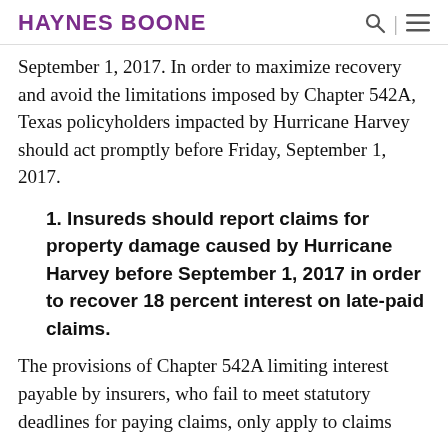HAYNES BOONE
September 1, 2017. In order to maximize recovery and avoid the limitations imposed by Chapter 542A, Texas policyholders impacted by Hurricane Harvey should act promptly before Friday, September 1, 2017.
1. Insureds should report claims for property damage caused by Hurricane Harvey before September 1, 2017 in order to recover 18 percent interest on late-paid claims.
The provisions of Chapter 542A limiting interest payable by insurers, who fail to meet statutory deadlines for paying claims, only apply to claims